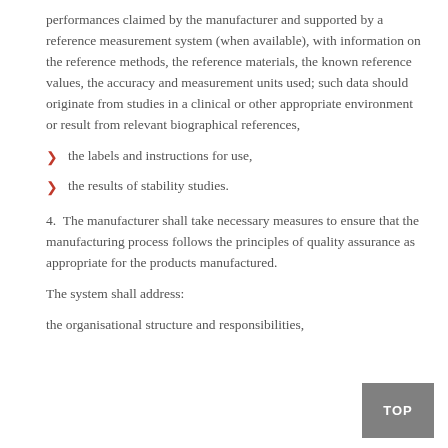performances claimed by the manufacturer and supported by a reference measurement system (when available), with information on the reference methods, the reference materials, the known reference values, the accuracy and measurement units used; such data should originate from studies in a clinical or other appropriate environment or result from relevant biographical references,
the labels and instructions for use,
the results of stability studies.
4.  The manufacturer shall take necessary measures to ensure that the manufacturing process follows the principles of quality assurance as appropriate for the products manufactured.
The system shall address:
the organisational structure and responsibilities,